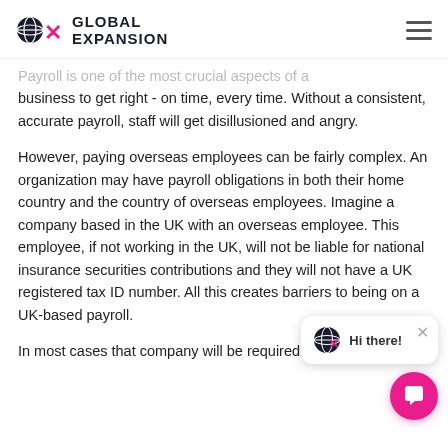GLOBAL EXPANSION
Payroll is one of the most crucial aspects of a business to get right - on time, every time. Without a consistent, accurate payroll, staff will get disillusioned and angry.
However, paying overseas employees can be fairly complex. An organization may have payroll obligations in both their home country and the country of overseas employees. Imagine a company based in the UK with an overseas employee. This employee, if not working in the UK, will not be liable for national insurance securities contributions and they will not have a UK registered tax ID number. All this creates barriers to being on a UK-based payroll.
In most cases that company will be required to set